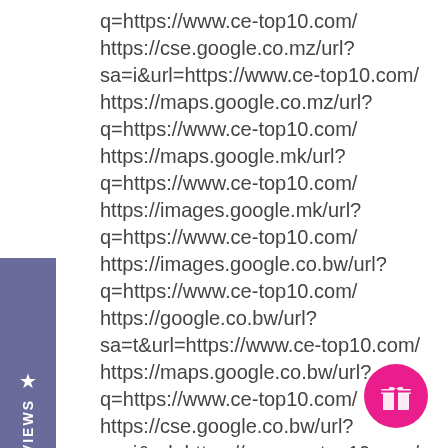q=https://www.ce-top10.com/ https://cse.google.co.mz/url?sa=i&url=https://www.ce-top10.com/ https://maps.google.co.mz/url?q=https://www.ce-top10.com/ https://maps.google.mk/url?q=https://www.ce-top10.com/ https://images.google.mk/url?q=https://www.ce-top10.com/ https://images.google.co.bw/url?q=https://www.ce-top10.com/ https://google.co.bw/url?sa=t&url=https://www.ce-top10.com/ https://maps.google.co.bw/url?q=https://www.ce-top10.com/ https://cse.google.co.bw/url?sa=i&url=https://www.ce-top10.com/